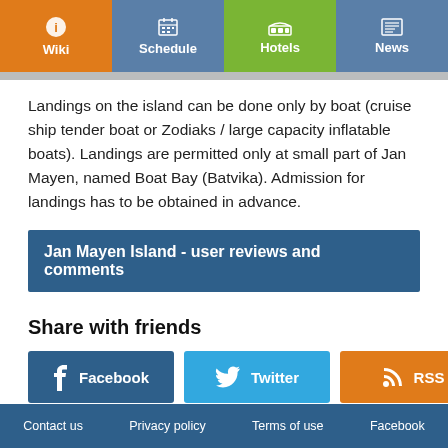Wiki | Schedule | Hotels | News
Landings on the island can be done only by boat (cruise ship tender boat or Zodiaks / large capacity inflatable boats). Landings are permitted only at small part of Jan Mayen, named Boat Bay (Batvika). Admission for landings has to be obtained in advance.
Jan Mayen Island - user reviews and comments
Share with friends
Facebook | Twitter | RSS
Contact us  Privacy policy  Terms of use  Facebook